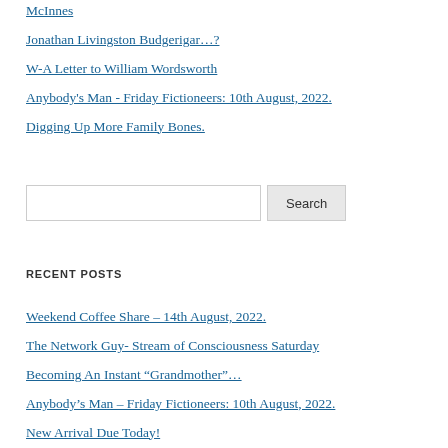McInnes
Jonathan Livingston Budgerigar…?
W-A Letter to William Wordsworth
Anybody's Man - Friday Fictioneers: 10th August, 2022.
Digging Up More Family Bones.
RECENT POSTS
Weekend Coffee Share – 14th August, 2022.
The Network Guy- Stream of Consciousness Saturday
Becoming An Instant “Grandmother”…
Anybody’s Man – Friday Fictioneers: 10th August, 2022.
New Arrival Due Today!
Weekend Coffee Share- 17th July, 2022.